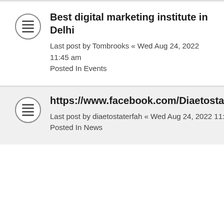Best digital marketing institute in Delhi
Last post by Tombrooks « Wed Aug 24, 2022 11:45 am
Posted In Events
https://www.facebook.com/DiaetostatErfahrungen
Last post by diaetostaterfah « Wed Aug 24, 2022 11:43 am
Posted In News